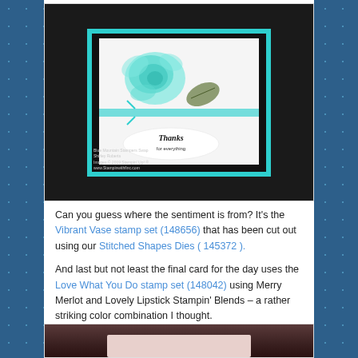[Figure (photo): A handmade greeting card with a teal/turquoise rose stamped image, a teal ribbon, a leaf accent, and a 'Thanks for everything' oval sentiment label. The card has a teal border and black mat on a dark background. Watermark reads: Blue Mountain Stampers Swap, Shirley Roberts, Images © 2019 Stampin' Up!, www.Stampinwithfinc.com]
Can you guess where the sentiment is from? It's the Vibrant Vase stamp set (148656) that has been cut out using our Stitched Shapes Dies ( 145372 ).
And last but not least the final card for the day uses the Love What You Do stamp set (148042) using Merry Merlot and Lovely Lipstick Stampin' Blends – a rather striking color combination I thought.
[Figure (photo): Bottom portion of a photo showing a dark brown/merlot background with the top of a handmade card visible at the bottom of the frame.]